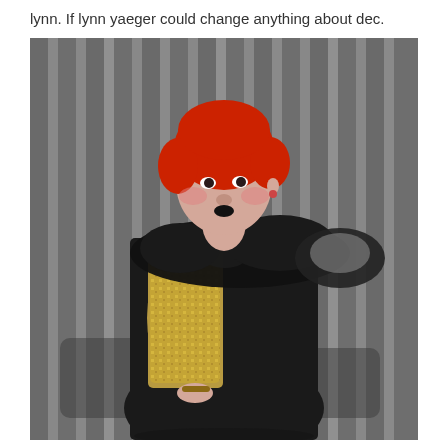lynn. If lynn yaeger could change anything about dec.
[Figure (photo): A woman with bright red bob haircut wearing a black feather boa/wrap over a gold sequined top and long black skirt, standing in front of grey draped curtains.]